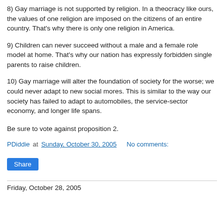8) Gay marriage is not supported by religion. In a theocracy like ours, the values of one religion are imposed on the citizens of an entire country. That's why there is only one religion in America.
9) Children can never succeed without a male and a female role model at home. That's why our nation has expressly forbidden single parents to raise children.
10) Gay marriage will alter the foundation of society for the worse; we could never adapt to new social mores. This is similar to the way our society has failed to adapt to automobiles, the service-sector economy, and longer life spans.
Be sure to vote against proposition 2.
PDiddie at Sunday, October 30, 2005    No comments:
Share
Friday, October 28, 2005